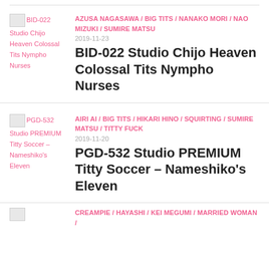BID-022 Studio Chijo Heaven Colossal Tits Nympho Nurses | Tags: AZUSA NAGASAWA / BIG TITS / NANAKO MORI / NAO MIZUKI / SUMIRE MATSU | Date: 2019-11-23
PGD-532 Studio PREMIUM Titty Soccer – Nameshiko's Eleven | Tags: AIRI AI / BIG TITS / HIKARI HINO / SQUIRTING / SUMIRE MATSU / TITTY FUCK | Date: 2019-11-20
Partial entry: CREAMPIE / HAYASHI / KEI MEGUMI / MARRIED WOMAN